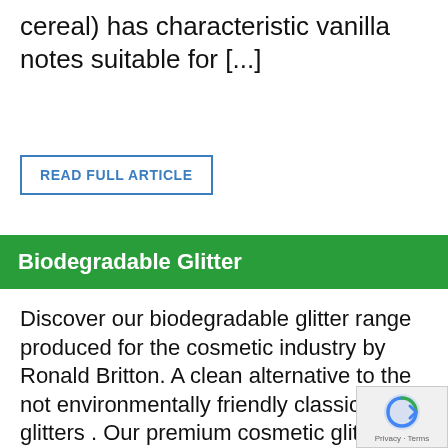cereal) has characteristic vanilla notes suitable for [...]
READ FULL ARTICLE
Biodegradable Glitter
Discover our biodegradable glitter range produced for the cosmetic industry by Ronald Britton. A clean alternative to the not environmentally friendly classical glitters . Our premium cosmetic glitters exist in different sizes, shapes, colors and effects. Many different applications are possible: polish, nail art, false nails, hair spray, eye